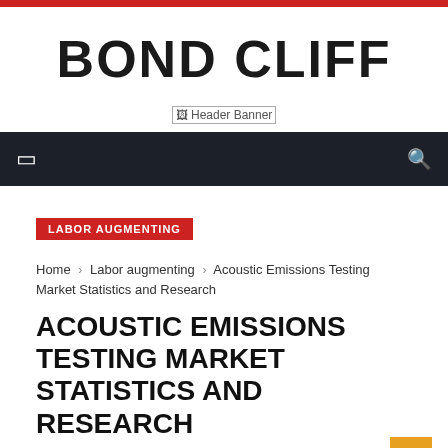BOND CLIFF
[Figure (other): Header Banner placeholder image]
Navigation bar with menu icon and search icon
LABOR AUGMENTING
Home › Labor augmenting › Acoustic Emissions Testing Market Statistics and Research
ACOUSTIC EMISSIONS TESTING MARKET STATISTICS AND RESEARCH